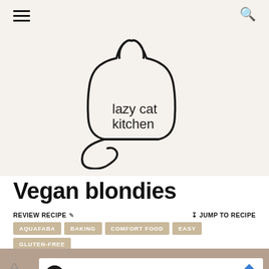Lazy Cat Kitchen - navigation header with hamburger menu and search icon
[Figure (logo): Lazy Cat Kitchen logo: outline drawing of a cat shape containing the text 'lazy cat kitchen']
Vegan blondies
REVIEW RECIPE ✏  ↓ JUMP TO RECIPE
AQUAFABA
BAKING
COMFORT FOOD
EASY
GLUTEN-FREE
[Figure (photo): Bottom portion of page showing a brownish baked goods image and an advertisement bar for in-store shopping]